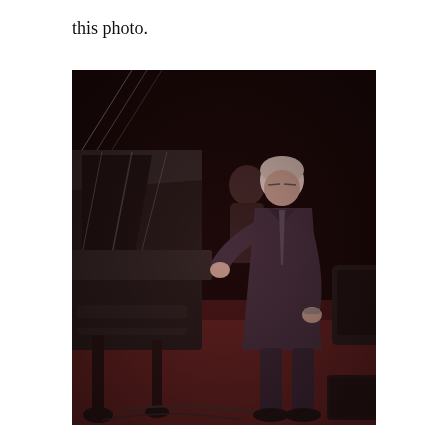this photo.
[Figure (photo): An elderly man in a dark suit standing next to a grand piano on a stage with a dark background and red/maroon floor. He is leaning slightly forward with one hand near the piano. Another person is partially visible in the background. Stage equipment is visible on the right side.]